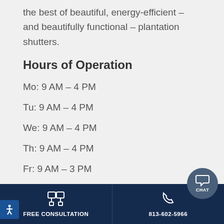the best of beautiful, energy-efficient – and beautifully functional – plantation shutters.
Hours of Operation
Mo: 9 AM – 4 PM
Tu: 9 AM – 4 PM
We: 9 AM – 4 PM
Th: 9 AM – 4 PM
Fr: 9 AM – 3 PM
Sat: Closed
Sun: Closed
Learn More
FREE CONSULTATION | 813-602-5966